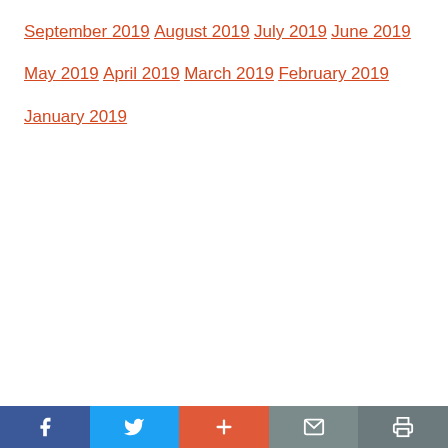September 2019
August 2019
July 2019
June 2019
May 2019
April 2019
March 2019
February 2019
January 2019